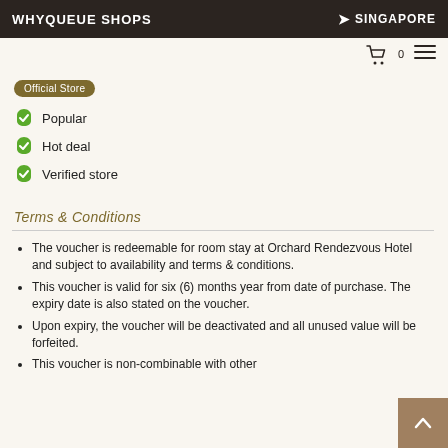WHYQUEUE SHOPS | SINGAPORE
[Figure (logo): Official Store badge - rounded pill shape in olive/brown color]
Popular
Hot deal
Verified store
Terms & Conditions
The voucher is redeemable for room stay at Orchard Rendezvous Hotel and subject to availability and terms & conditions.
This voucher is valid for six (6) months year from date of purchase. The expiry date is also stated on the voucher.
Upon expiry, the voucher will be deactivated and all unused value will be forfeited.
This voucher is non-combinable with other